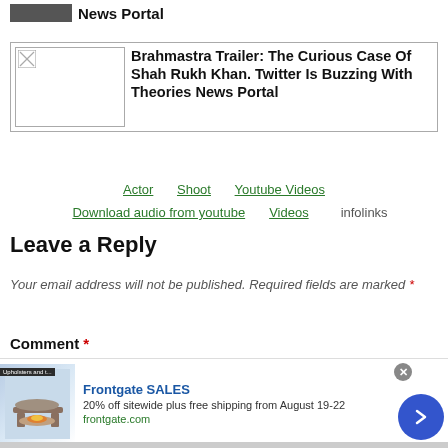News Portal
Brahmastra Trailer: The Curious Case Of Shah Rukh Khan. Twitter Is Buzzing With Theories News Portal
Actor
Shoot
Youtube Videos
Download audio from youtube
Videos
infolinks
Leave a Reply
Your email address will not be published. Required fields are marked *
Comment *
[Figure (screenshot): Advertisement banner for Frontgate SALES: 20% off sitewide plus free shipping from August 19-22, frontgate.com, with furniture image and circular blue arrow button]